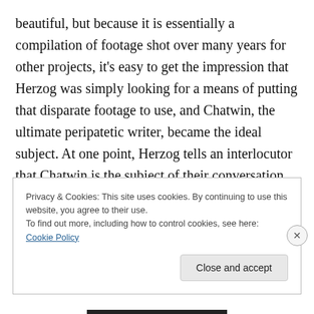beautiful, but because it is essentially a compilation of footage shot over many years for other projects, it's easy to get the impression that Herzog was simply looking for a means of putting that disparate footage to use, and Chatwin, the ultimate peripatetic writer, became the ideal subject. At one point, Herzog tells an interlocutor that Chatwin is the subject of their conversation and the movie we are now watching, as if to remind himself what he should be doing. As erudite and probing as Nomad is, a more honest title would have been Bruce and Me.
Privacy & Cookies: This site uses cookies. By continuing to use this website, you agree to their use. To find out more, including how to control cookies, see here: Cookie Policy